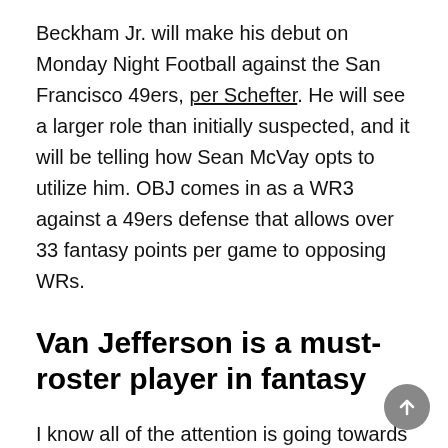Beckham Jr. will make his debut on Monday Night Football against the San Francisco 49ers, per Schefter. He will see a larger role than initially suspected, and it will be telling how Sean McVay opts to utilize him. OBJ comes in as a WR3 against a 49ers defense that allows over 33 fantasy points per game to opposing WRs.
Van Jefferson is a must-roster player in fantasy
I know all of the attention is going towards Beckham Jr. due to his name value. But Van Jefferson might be the player who sees the